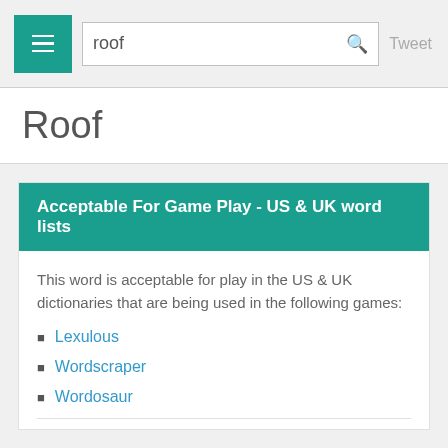roof | Tweet
Roof
Acceptable For Game Play - US & UK word lists
This word is acceptable for play in the US & UK dictionaries that are being used in the following games:
Lexulous
Wordscraper
Wordosaur